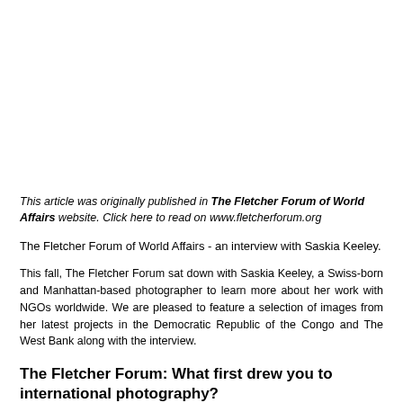This article was originally published in The Fletcher Forum of World Affairs website. Click here to read on www.fletcherforum.org
The Fletcher Forum of World Affairs - an interview with Saskia Keeley.
This fall, The Fletcher Forum sat down with Saskia Keeley, a Swiss-born and Manhattan-based photographer to learn more about her work with NGOs worldwide. We are pleased to feature a selection of images from her latest projects in the Democratic Republic of the Congo and The West Bank along with the interview.
The Fletcher Forum: What first drew you to international photography?
Saskia Keeley: For many years I have had the pleasure of the most broadly...